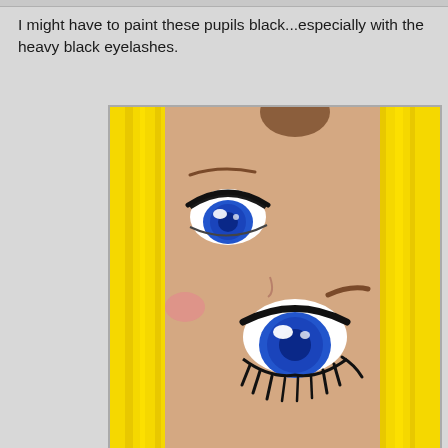I might have to paint these pupils black...especially with the heavy black eyelashes.
[Figure (photo): Close-up photo of an anime-style doll face with blue eyes, heavy black eyelashes, brown eyebrows, and bright yellow hair. The doll has a peach/skin-toned face and the eyes are cartoonishly large with blue irises and white highlights.]